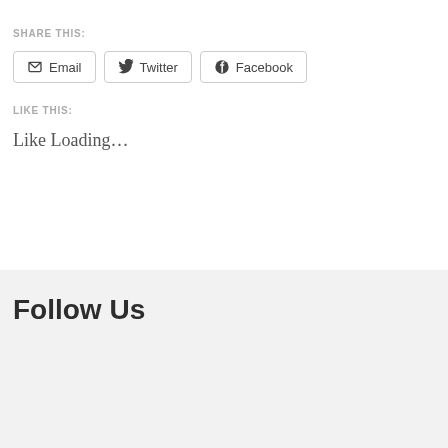SHARE THIS:
Email  Twitter  Facebook
LIKE THIS:
Like Loading…
Follow Us